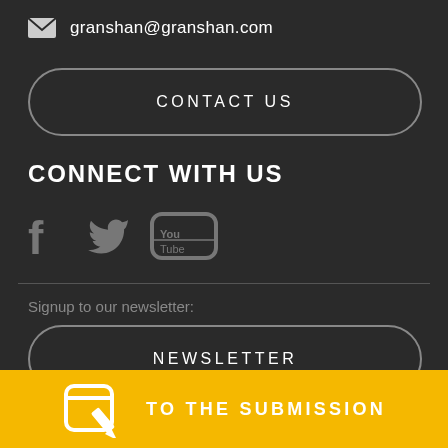granshan@granshan.com
CONTACT US
CONNECT WITH US
[Figure (illustration): Social media icons: Facebook, Twitter, YouTube]
Signup to our newsletter:
NEWSLETTER
TO THE SUBMISSION